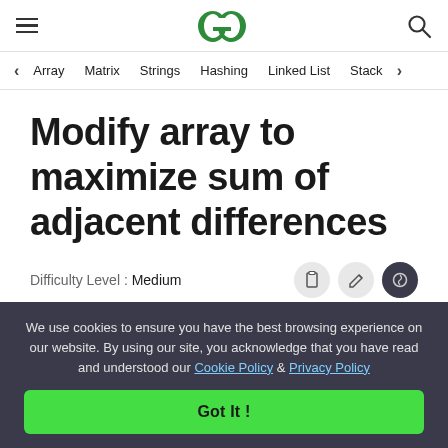GeeksforGeeks header with hamburger menu, logo, and search icon
Array  Matrix  Strings  Hashing  Linked List  Stack
Modify array to maximize sum of adjacent differences
Difficulty Level : Medium
We use cookies to ensure you have the best browsing experience on our website. By using our site, you acknowledge that you have read and understood our Cookie Policy & Privacy Policy
Got It !